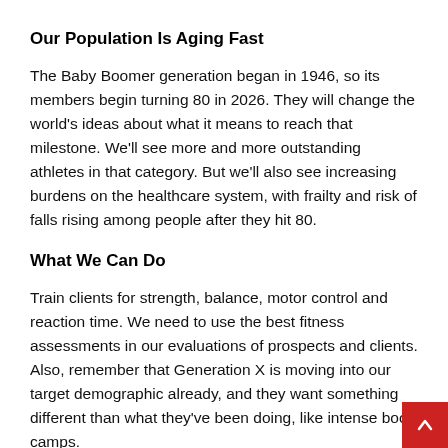Our Population Is Aging Fast
The Baby Boomer generation began in 1946, so its members begin turning 80 in 2026. They will change the world's ideas about what it means to reach that milestone. We'll see more and more outstanding athletes in that category. But we'll also see increasing burdens on the healthcare system, with frailty and risk of falls rising among people after they hit 80.
What We Can Do
Train clients for strength, balance, motor control and reaction time. We need to use the best fitness assessments in our evaluations of prospects and clients. Also, remember that Generation X is moving into our target demographic already, and they want something different than what they've been doing, like intense boot camps.